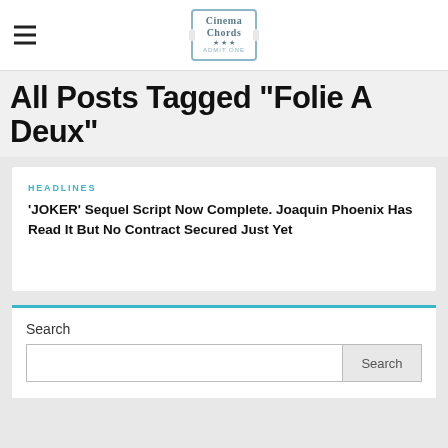Cinema Chords ★★★ ADMIT ONE
All Posts Tagged "Folie A Deux"
HEADLINES
'JOKER' Sequel Script Now Complete. Joaquin Phoenix Has Read It But No Contract Secured Just Yet
Search